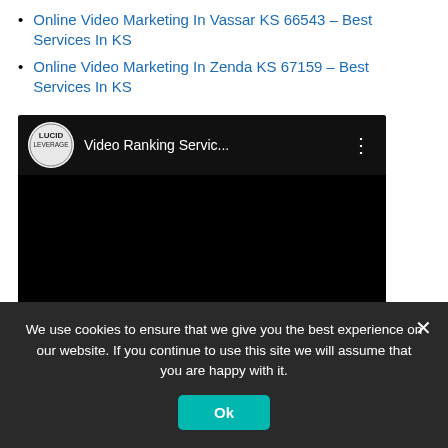Online Video Marketing In Vassar KS 66543 – Best Services In KS
Online Video Marketing In Zenda KS 67159 – Best Services In KS
[Figure (screenshot): Embedded video player thumbnail with Lucid Leverage logo and title 'Video Ranking Servic...' with three-dot menu on dark background]
[Figure (infographic): Social share buttons: Facebook (blue), Twitter (light blue), Email (dark blue), Plus/More (dark blue)]
We use cookies to ensure that we give you the best experience on our website. If you continue to use this site we will assume that you are happy with it.